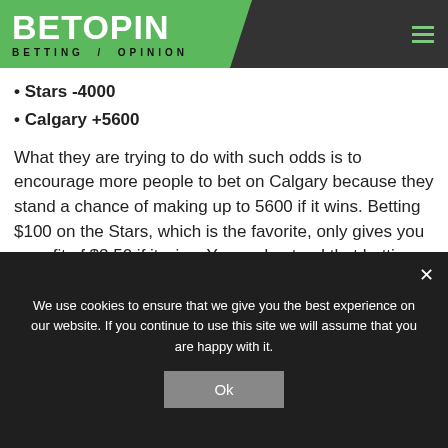BETOPIN BETTING OPINION
Stars -4000
Calgary +5600
What they are trying to do with such odds is to encourage more people to bet on Calgary because they stand a chance of making up to 5600 if it wins. Betting $100 on the Stars, which is the favorite, only gives you a profit of $2.50 if it wins. You understand that betting on Calgary promises a lot in terms of reward, but it's the riskiest because they are the weaker team here.
We use cookies to ensure that we give you the best experience on our website. If you continue to use this site we will assume that you are happy with it. Ok